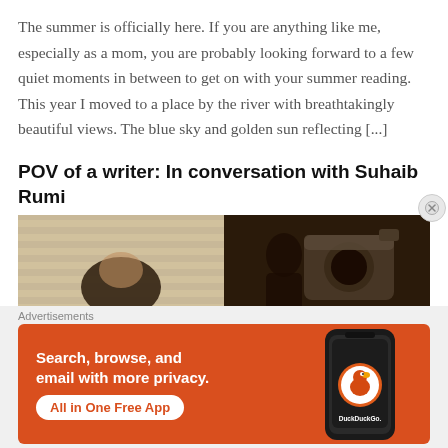The summer is officially here. If you are anything like me, especially as a mom, you are probably looking forward to a few quiet moments in between to get on with your summer reading. This year I moved to a place by the river with breathtakingly beautiful views. The blue sky and golden sun reflecting [...]
POV of a writer: In conversation with Suhaib Rumi
[Figure (photo): Split image: left side shows a person with dark hair looking through window blinds in warm light; right side shows a dark silhouette of a person with a camera or bag against a dark background.]
Advertisements
[Figure (infographic): DuckDuckGo advertisement banner on orange/red background. Text: 'Search, browse, and email with more privacy. All in One Free App'. Shows a smartphone with the DuckDuckGo logo and app icon.]